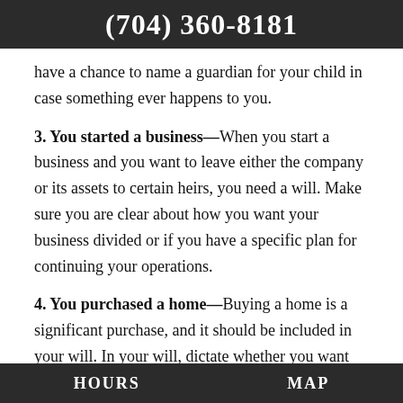(704) 360-8181
have a chance to name a guardian for your child in case something ever happens to you.
3. You started a business—When you start a business and you want to leave either the company or its assets to certain heirs, you need a will. Make sure you are clear about how you want your business divided or if you have a specific plan for continuing your operations.
4. You purchased a home—Buying a home is a significant purchase, and it should be included in your will. In your will, dictate whether you want the property sold and funds distributed to your heirs, or if you want someone to inherit it the...
HOURS   MAP